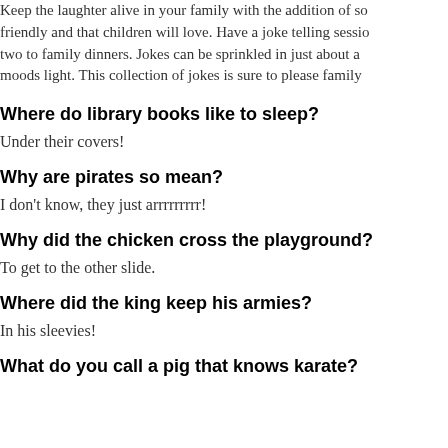Keep the laughter alive in your family with the addition of so friendly and that children will love. Have a joke telling sessio two to family dinners. Jokes can be sprinkled in just about a moods light. This collection of jokes is sure to please family
Where do library books like to sleep?
Under their covers!
Why are pirates so mean?
I don't know, they just arrrrrrrrr!
Why did the chicken cross the playground?
To get to the other slide.
Where did the king keep his armies?
In his sleevies!
What do you call a pig that knows karate?